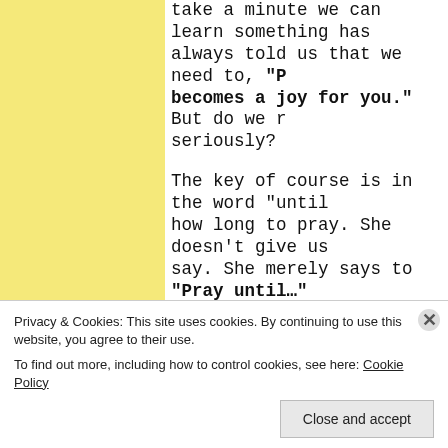take a minute we can learn something has always told us that we need to, "Pray until prayer becomes a joy for you." But do we really take this seriously?
The key of course is in the word "until" — how long to pray. She doesn't give us a time to say. She merely says to "Pray until..." we don't stop praying "until" we actually have a visit with the Most High. We need to pray "until" we experience joy. And we probably won't want to stop when the joy of the meeting with God happens — we want to continue!
Mike Nolan took a pilgrimage group t during the middle of August this ye...
Privacy & Cookies: This site uses cookies. By continuing to use this website, you agree to their use.
To find out more, including how to control cookies, see here: Cookie Policy
Close and accept